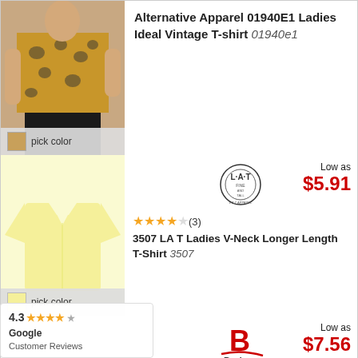[Figure (photo): Woman wearing leopard print top, product photo for Alternative Apparel shirt; includes tan color swatch and 'pick color' label]
Alternative Apparel 01940E1 Ladies Ideal Vintage T-shirt 01940e1
[Figure (photo): Yellow ladies V-neck t-shirt product photo; LA T brand logo; 4-star rating (3 reviews); yellow color swatch and 'pick color' label]
Low as $5.91
3507 LA T Ladies V-Neck Longer Length T-Shirt 3507
[Figure (photo): Badger Sport brand logo; product listing for ladies performance tee; 4-star rating (3 reviews)]
Low as $7.56
4160 Badger Ladies' B-Core Short-Sleeve Performance Tee 4160
4.3 Google Customer Reviews